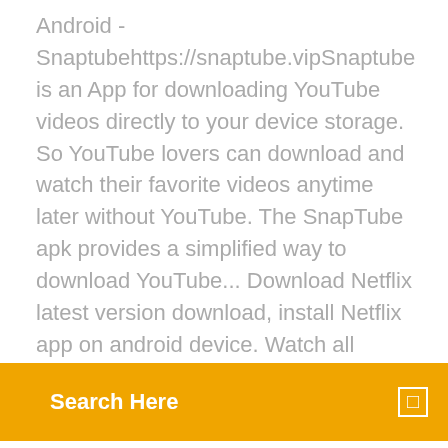Android - Snaptubehttps://snaptube.vipSnaptube is an App for downloading YouTube videos directly to your device storage. So YouTube lovers can download and watch their favorite videos anytime later without YouTube. The SnapTube apk provides a simplified way to download YouTube... Download Netflix latest version download, install Netflix app on android device. Watch all
Search Here
versions(7.0.9,7.0.7,) apk available. Android App by WeChat Free.
you can get Dancing Line 2.1.3 Apk (MOD, Unlimited Money) Latest Version Download For Android 2018 and get dancing line mod apk latest version unlimited money and gems hacked version free download Download Line Color 3D APK latest version 1.6 - com.hambastudio.linecolor - Paint the path! News channels and news papers use it to broadcast latest news. With its worldwide availability, Line brings people closer together